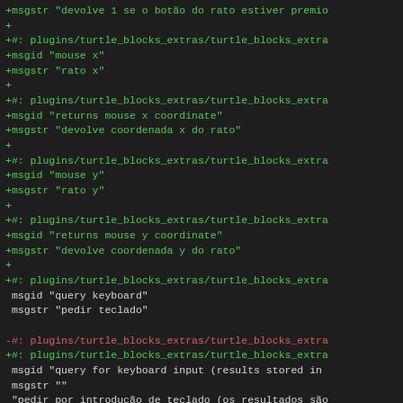Code diff showing gettext/PO file translations for turtle_blocks_extras plugin, Portuguese locale.